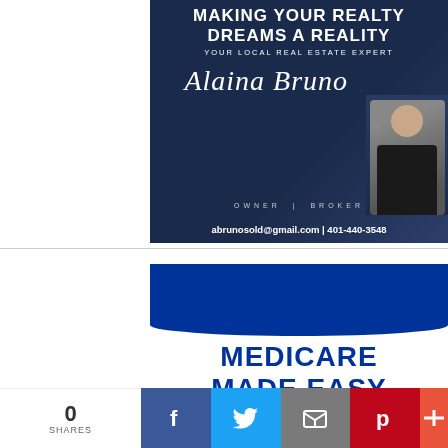[Figure (advertisement): Real estate advertisement for Alaina Bruno, Owner/Broker. Dark navy blue background with text: MAKING YOUR REALTY DREAMS A REALITY, YOUR LOCAL REAL ESTATE EXPERT, cursive signature 'Alaina Bruno', OWNER | BROKER, abrunosold@gmail.com | 401-440-3548. Photo of woman on right side.]
[Figure (advertisement): Medicare Made Easy advertisement with blue and red color scheme. Text: MEDICARE MADE EASY, phone number 401-741-7813 in red banner.]
0 SHARES